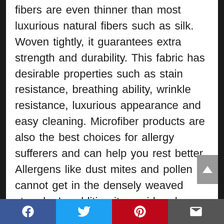fibers are even thinner than most luxurious natural fibers such as silk. Woven tightly, it guarantees extra strength and durability. This fabric has desirable properties such as stain resistance, breathing ability, wrinkle resistance, luxurious appearance and easy cleaning. Microfiber products are also the best choices for allergy sufferers and can help you rest better. Allergens like dust mites and pollen cannot get in the densely weaved strands. In addition it considered environmentally friendly as opposed to cotton. Cotton takes a lot of water to grow and many pesticides are used to grow cotton that causes serious pollution. With such
[Figure (screenshot): Social sharing bar at the bottom with Facebook (blue), Twitter (light blue), Pinterest (red), and Email (dark gray) buttons with white icons.]